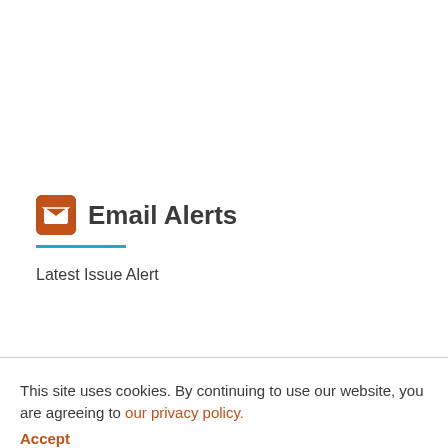Email Alerts
Latest Issue Alert
This site uses cookies. By continuing to use our website, you are agreeing to our privacy policy. Accept